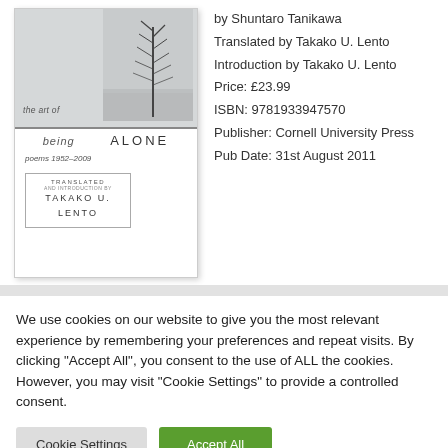[Figure (illustration): Book cover for 'The Art of Being Alone: Poems 1952-2009' by Shuntaro Tanikawa, translated by Takako U. Lento. Cover shows a winter landscape with a lone tree against a grey sky. Text on cover reads 'the art of being ALONE poems 1952-2009' and a translated/introduction credit box for TAKAKO U. LENTO.]
by Shuntaro Tanikawa
Translated by Takako U. Lento
Introduction by Takako U. Lento
Price: £23.99
ISBN: 9781933947570
Publisher: Cornell University Press
Pub Date: 31st August 2011
We use cookies on our website to give you the most relevant experience by remembering your preferences and repeat visits. By clicking "Accept All", you consent to the use of ALL the cookies. However, you may visit "Cookie Settings" to provide a controlled consent.
Cookie Settings
Accept All